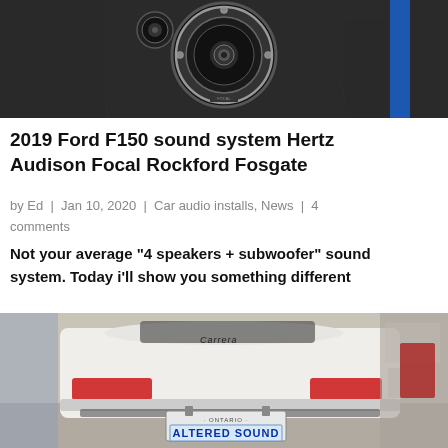[Figure (photo): Close-up photo of car audio speaker/subwoofer installation inside a vehicle, showing a large round speaker in a custom enclosure with black trim]
2019 Ford F150 sound system Hertz Audison Focal Rockford Fosgate
by Ed | Jan 10, 2020 | Car audio installs, News | 4 comments
Not your average "4 speakers + subwoofer" sound system. Today i'll show you something different
[Figure (photo): Rear view of a white Porsche 911 Carrera with Ontario license plate reading ALTERED SOUND, parked in a garage/shop]